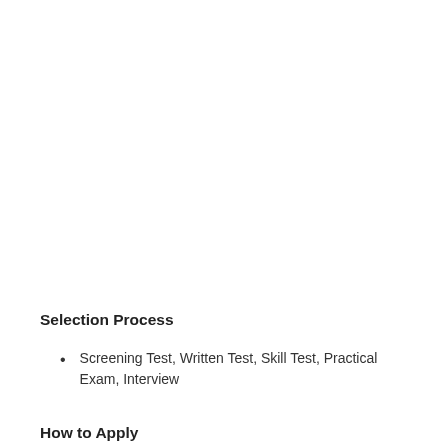Selection Process
Screening Test, Written Test, Skill Test, Practical Exam, Interview
How to Apply